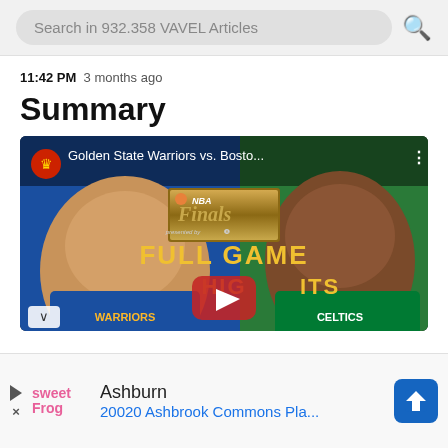Search in 932.358 VAVEL Articles
11:42 PM  3 months ago
Summary
[Figure (screenshot): YouTube video thumbnail showing Golden State Warriors vs. Boston Celtics NBA Finals Full Game Highlights, with Stephen Curry on the left (blue background) and Jaylen Brown on the right (green background), NBA Finals logo in center, YouTube play button overlay.]
Ashburn
20020 Ashbrook Commons Pla...